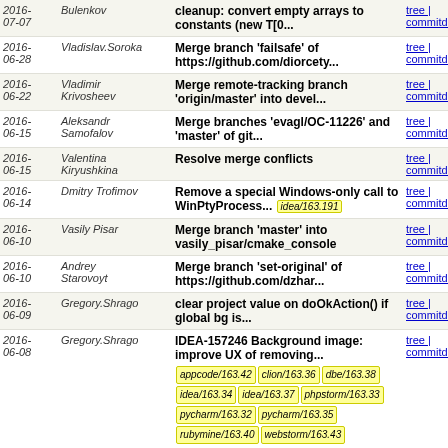| Date | Author | Message | Links |
| --- | --- | --- | --- |
| 2016-07-07 | Bulenkov | cleanup: convert empty arrays to constants (new T[0... | tree | commitdiff |
| 2016-06-28 | Vladislav.Soroka | Merge branch 'failsafe' of https://github.com/diorcety... | tree | commitdiff |
| 2016-06-22 | Vladimir Krivosheev | Merge remote-tracking branch 'origin/master' into devel... | tree | commitdiff |
| 2016-06-15 | Aleksandr Samofalov | Merge branches 'evagl/OC-11226' and 'master' of git... | tree | commitdiff |
| 2016-06-15 | Valentina Kiryushkina | Resolve merge conflicts | tree | commitdiff |
| 2016-06-14 | Dmitry Trofimov | Remove a special Windows-only call to WinPtyProcess... [idea/163.191] | tree | commitdiff |
| 2016-06-10 | Vasily Pisar | Merge branch 'master' into vasily_pisar/cmake_console | tree | commitdiff |
| 2016-06-10 | Andrey Starovoyt | Merge branch 'set-original' of https://github.com/dzhar... | tree | commitdiff |
| 2016-06-09 | Gregory.Shrago | clear project value on doOkAction() if global bg is... | tree | commitdiff |
| 2016-06-08 | Gregory.Shrago | IDEA-157246 Background image: improve UX of removing... [appcode/163.42 clion/163.36 dbe/163.38 idea/163.34 idea/163.37 phpstorm/163.33 pycharm/163.32 pycharm/163.35 rubymine/163.40 webstorm/163.43] | tree | commitdiff |
| 2016-06-08 | Gregory.Shrago | IDEA-117223 Custom background image/colour for each... | tree | commitdiff |
| 2016-06-08 | Konstantin Bulenkov | IDEA-157244 Background image: wrong file chooser icon... | tree | commitdiff |